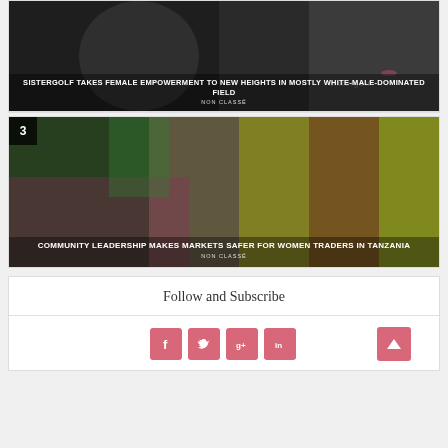[Figure (photo): Article card with dark background photo showing person, with SisterGolf logo/text overlay. Title: SISTERGOLF TAKES FEMALE EMPOWERMENT TO NEW HEIGHTS IN MOSTLY WHITE-MALE-DOMINATED FIELD. Category: NON CLASSÉ.]
[Figure (photo): Article card numbered 3 with colorful market photo of woman in Tanzania. Title: COMMUNITY LEADERSHIP MAKES MARKETS SAFER FOR WOMEN TRADERS IN TANZANIA. Category: NON CLASSÉ.]
Follow and Subscribe
[Figure (infographic): Social media buttons: Facebook (f), Twitter (bird), Google+ (g+), LinkedIn (in), and an up/back-to-top arrow button on the right.]